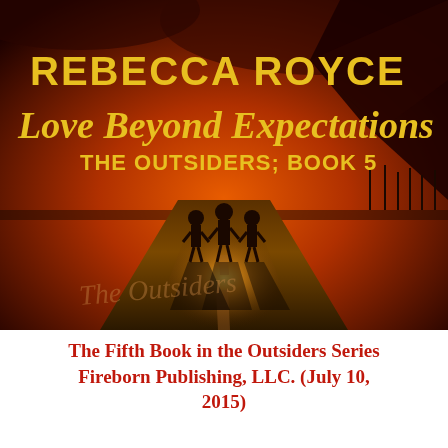[Figure (illustration): Book cover for 'Love Beyond Expectations' by Rebecca Royce, The Outsiders Book 5. Dark red/orange apocalyptic sky with mountains, three silhouetted figures standing on a road leading toward a bright light on the horizon. Yellow text reads 'REBECCA ROYCE' at top, 'Love Beyond Expectations' in large letters below, 'THE OUTSIDERS; BOOK 5' beneath that. Cursive text on the road reads 'The Outsiders'.]
The Fifth Book in the Outsiders Series Fireborn Publishing, LLC. (July 10, 2015)